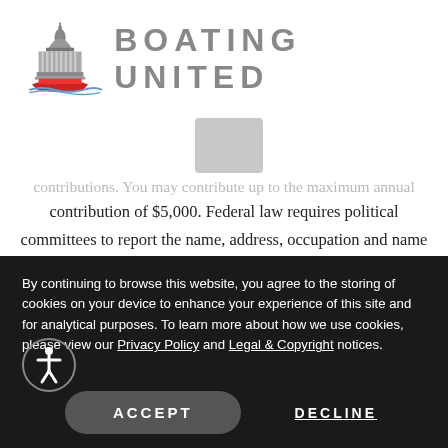[Figure (logo): Boating United logo: Capitol building with a red boat, next to large text BOATING UNITED]
contribution of $5,000. Federal law requires political committees to report the name, address, occupation and name of employer for each individual whose contributions aggregate in excess of $200 in a calendar year. You must be a U.S. citizen or lawfully admitted permanent resident (i.e., green card holder) to contribute to BoatPAC
By continuing to browse this website, you agree to the storing of cookies on your device to enhance your experience of this site and for analytical purposes. To learn more about how we use cookies, please view our Privacy Policy and Legal & Copyright notices.